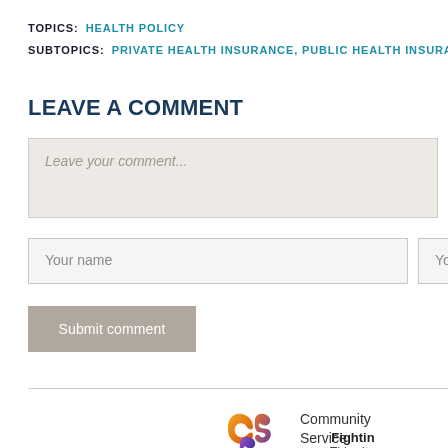TOPICS: HEALTH POLICY
SUBTOPICS: PRIVATE HEALTH INSURANCE, PUBLIC HEALTH INSURANCE
LEAVE A COMMENT
Leave your comment...
Your name
Your email a
Submit comment
[Figure (logo): CSS Community Service Society logo with colorful interlinked letters and organization name]
Fightin
This site